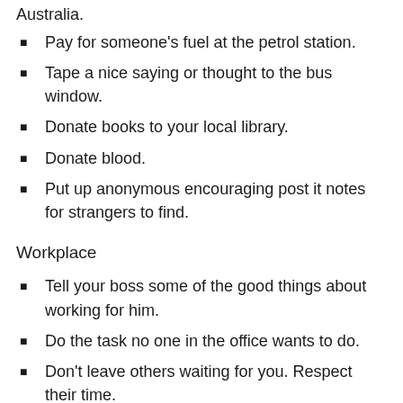Australia.
Pay for someone's fuel at the petrol station.
Tape a nice saying or thought to the bus window.
Donate books to your local library.
Donate blood.
Put up anonymous encouraging post it notes for strangers to find.
Workplace
Tell your boss some of the good things about working for him.
Do the task no one in the office wants to do.
Don't leave others waiting for you. Respect their time.
Bring a welcome gift to a new co-worker.
Give up your seat for someone
Bring a box of doughnuts to share at the office.